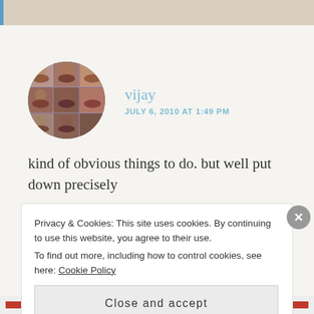[Figure (photo): Top decorative bar with blue accent on left]
vijay
JULY 6, 2010 AT 1:49 PM
[Figure (photo): Circular avatar showing a collage of people, multiple faces in a grid]
kind of obvious things to do. but well put down precisely
Privacy & Cookies: This site uses cookies. By continuing to use this website, you agree to their use.
To find out more, including how to control cookies, see here: Cookie Policy
Close and accept